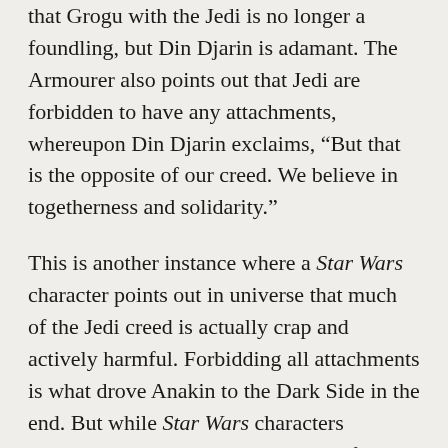that Grogu with the Jedi is no longer a foundling, but Din Djarin is adamant. The Armourer also points out that Jedi are forbidden to have any attachments, whereupon Din Djarin exclaims, “But that is the opposite of our creed. We believe in togetherness and solidarity.”
This is another instance where a Star Wars character points out in universe that much of the Jedi creed is actually crap and actively harmful. Forbidding all attachments is what drove Anakin to the Dark Side in the end. But while Star Wars characters occasionally point out that Jedi beliefs are shit, none of them truly act on it. I thought Rey and Kylo Ren might overcome the light side/dark side dichotomy, when they decide to work together against Snoke in The Last Jedi, but we all know how that ended.
We don’t see what exactly the Armourer makes for